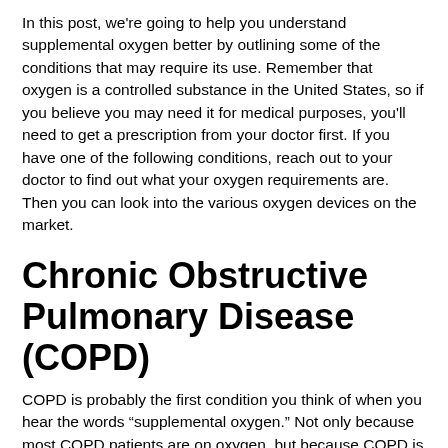In this post, we're going to help you understand supplemental oxygen better by outlining some of the conditions that may require its use. Remember that oxygen is a controlled substance in the United States, so if you believe you may need it for medical purposes, you'll need to get a prescription from your doctor first. If you have one of the following conditions, reach out to your doctor to find out what your oxygen requirements are. Then you can look into the various oxygen devices on the market.
Chronic Obstructive Pulmonary Disease (COPD)
COPD is probably the first condition you think of when you hear the words “supplemental oxygen.” Not only because most COPD patients are on oxygen, but because COPD is one of the most common chronic respiratory conditions in